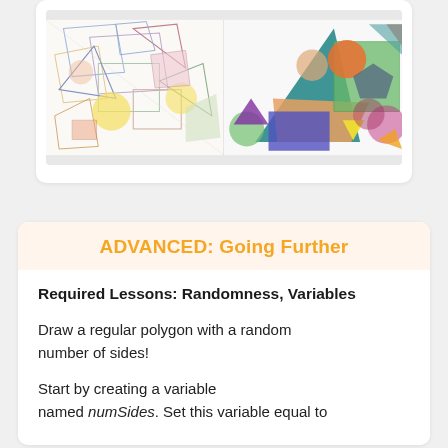[Figure (illustration): Two hand-drawn student artworks side by side showing geometric shapes: left panel has overlapping triangles, circles, rectangles and polygons in light pastel colors; right panel has colorful filled geometric shapes including triangles, circles, pentagons, rectangles in bold colors on white backgrounds.]
ADVANCED: Going Further
Required Lessons: Randomness, Variables
Draw a regular polygon with a random number of sides!
Start by creating a variable named numSides. Set this variable equal to